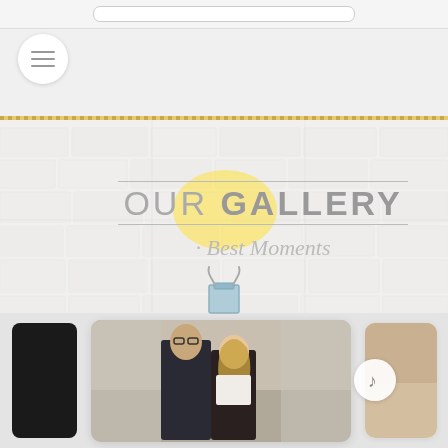[Figure (screenshot): Mobile app screenshot showing navigation bar at top with search field]
[Figure (illustration): White brick wall background with grid overlay and yellow glow orb behind 'our GALLERY' text]
our GALLERY
Best Moments
[Figure (photo): Couple photo thumbnail at bottom - man in dark jacket and woman with blonde braided hair]